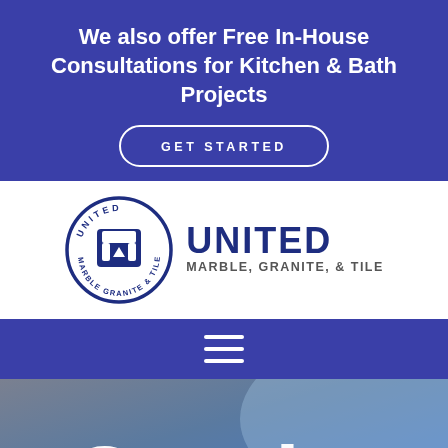We also offer Free In-House Consultations for Kitchen & Bath Projects
GET STARTED
[Figure (logo): United Marble Granite & Tile circular logo with stylized M and U letterform icon in blue]
UNITED MARBLE, GRANITE, & TILE
[Figure (other): Hamburger menu icon (three horizontal lines) on blue navigation bar]
Granite